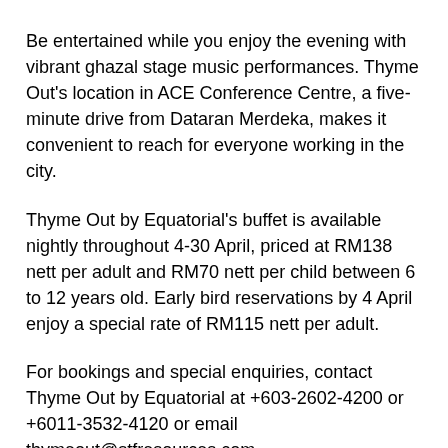Be entertained while you enjoy the evening with vibrant ghazal stage music performances. Thyme Out's location in ACE Conference Centre, a five-minute drive from Dataran Merdeka, makes it convenient to reach for everyone working in the city.
Thyme Out by Equatorial's buffet is available nightly throughout 4-30 April, priced at RM138 nett per adult and RM70 nett per child between 6 to 12 years old. Early bird reservations by 4 April enjoy a special rate of RM115 nett per adult.
For bookings and special enquiries, contact Thyme Out by Equatorial at +603-2602-4200 or +6011-3532-4120 or email thymeout@stfresources.com
For group gatherings of 100 persons or more, ACE Conference Centre offers a variety of buka puasa buffet menu selections for private or social events that can be organised in pillarless function rooms. Call the Sales Department at +603-2602-4100 or